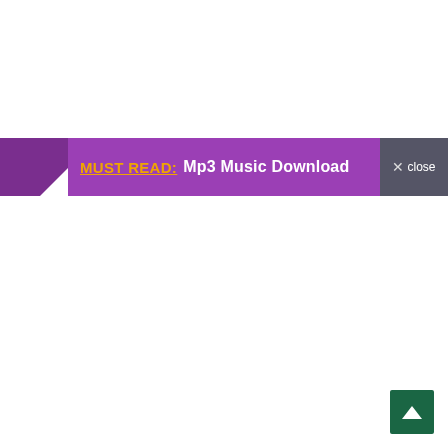[Figure (screenshot): A purple notification banner with text 'MUST READ: Mp3 Music Download' and a close button on the right. A dark green scroll-to-top button with an upward arrow appears in the bottom-right corner.]